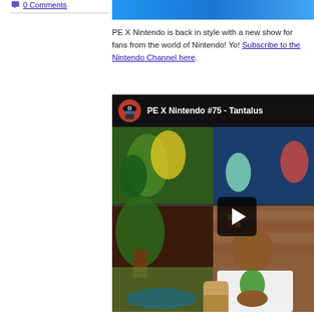0 Comments
PE X Nintendo is back in style with a new show for fans from the world of Nintendo! Yo! Subscribe to the Nintendo Channel here.
[Figure (screenshot): Video thumbnail for PE X Nintendo #75 - Tantalus showing a YouTube-style video player with a black header bar containing a pirate avatar icon and the title 'PE X Nintendo #75 - Tantalus', with colorful Nintendo game artwork in the background and a man in a white t-shirt sitting on a couch, with a play button overlay visible]
PE X Nintendo #75 - Tantalus